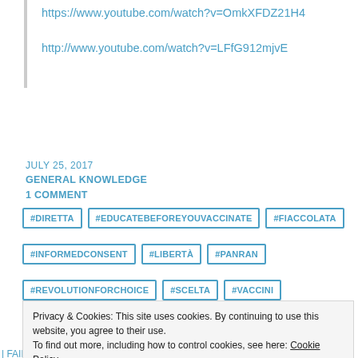https://www.youtube.com/watch?v=OmkXFDZ21H4
http://www.youtube.com/watch?v=LFfG912mjvE
JULY 25, 2017
GENERAL KNOWLEDGE
1 COMMENT
#DIRETTA
#EDUCATEBEFOREYOUVACCINATE
#FIACCOLATA
#INFORMEDCONSENT
#LIBERTÀ
#PANRAN
#REVOLUTIONFORCHOICE
#SCELTA
#VACCINI
Privacy & Cookies: This site uses cookies. By continuing to use this website, you agree to their use.
To find out more, including how to control cookies, see here: Cookie Policy
Close and accept
| FAINTING || FAMILIES || FAUX || FOR || GARDASIL || GEORGET |